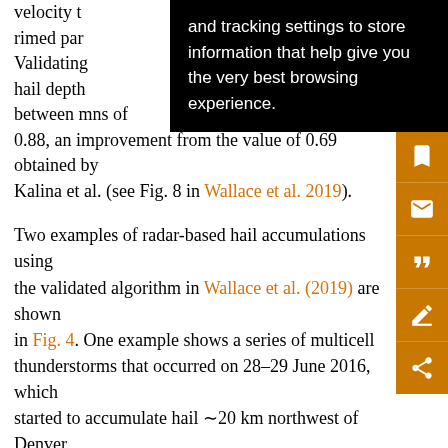velocity t... and tracking settings to store information that help give you the very best browsing experience. [tooltip overlay] ...p for rimed par... 0. Validating... ality hail depth... nt between m... ns of 0.88, an improvement from the value of 0.69 obtained by Kalina et al. (see Fig. 8 in Wallace et al. 2019).
Two examples of radar-based hail accumulations using the validated algorithm in Wallace et al. (2019) are shown in Fig. 4. One example shows a series of multicell thunderstorms that occurred on 28–29 June 2016, which started to accumulate hail ~20 km northwest of Denver, moving southeast at a speed of about 12 m s⁻¹ (Fig. 4a). We received three hail depth reports on that day in or close to the areas of deepest accumulations indicated by the radar. Differences between reported and radar-derived